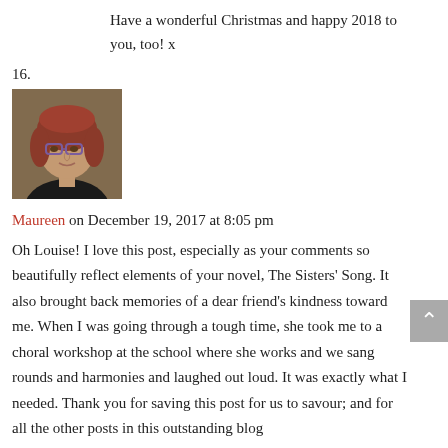Have a wonderful Christmas and happy 2018 to you, too! x
16.
[Figure (photo): Portrait photo of a woman with red-auburn hair and glasses, wearing a dark top, bookshelves in background.]
Maureen on December 19, 2017 at 8:05 pm
Oh Louise! I love this post, especially as your comments so beautifully reflect elements of your novel, The Sisters' Song. It also brought back memories of a dear friend's kindness toward me. When I was going through a tough time, she took me to a choral workshop at the school where she works and we sang rounds and harmonies and laughed out loud. It was exactly what I needed. Thank you for saving this post for us to savour; and for all the other posts in this outstanding blog